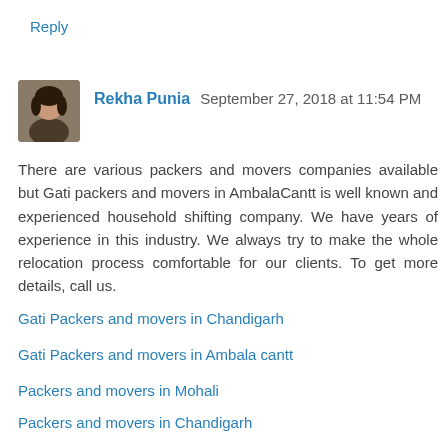Reply
Rekha Punia  September 27, 2018 at 11:54 PM
There are various packers and movers companies available but Gati packers and movers in AmbalaCantt is well known and experienced household shifting company. We have years of experience in this industry. We always try to make the whole relocation process comfortable for our clients. To get more details, call us.
Gati Packers and movers in Chandigarh
Gati Packers and movers in Ambala cantt
Packers and movers in Mohali
Packers and movers in Chandigarh
Reply